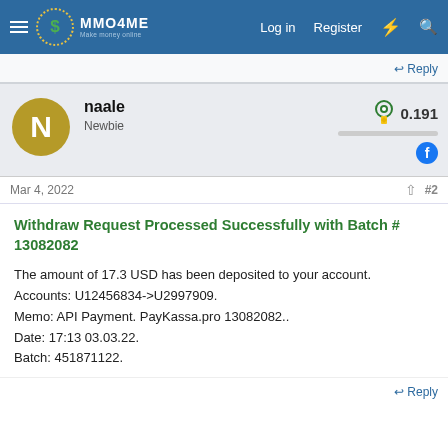MMO4ME — Log in  Register
Reply
naale
Newbie
0.191
Mar 4, 2022  #2
Withdraw Request Processed Successfully with Batch # 13082082
The amount of 17.3 USD has been deposited to your account.
Accounts: U12456834->U2997909.
Memo: API Payment. PayKassa.pro 13082082..
Date: 17:13 03.03.22.
Batch: 451871122.
Reply